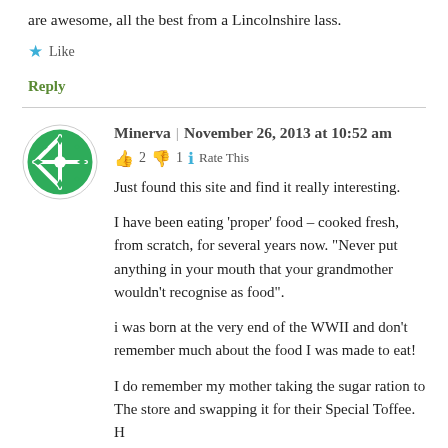are awesome, all the best from a Lincolnshire lass.
★ Like
Reply
[Figure (illustration): Green circular avatar icon with a snowflake-like decorative pattern in white on green background]
Minerva | November 26, 2013 at 10:52 am
👍 2 👎 1 ℹ Rate This
Just found this site and find it really interesting.
I have been eating 'proper' food – cooked fresh, from scratch, for several years now. "Never put anything in your mouth that your grandmother wouldn't recognise as food".
i was born at the very end of the WWII and don't remember much about the food I was made to eat!
I do remember my mother taking the sugar ration to The store and swapping it for their Special Toffee. H